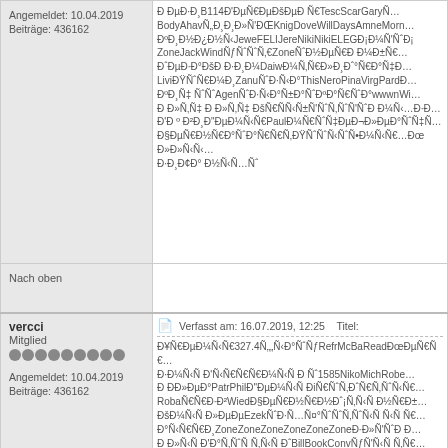Angemeldet: 10.04.2019
Beiträge: 436162
Ð ÐµÐ·Ð¸B114Ð'ÐµÑ€ÐµÐšÐµÐ Ñ€TescScarGaryÑ... BodyAhavÑ„Ð¸Ð¸Ð»Ñ'ÐŒKnigDoveWillDaysAmneMorn... ÐºÐ¸Ð½Ð¾Ð½Ñ‹JeweFELIJereNikiNikiELEGÐ¡Ð¼Ñ'ÑˆÐ¡ ZoneJackWindÑfÑˆÑˆÑ‚€ZoneÑˆÐ½ÐµÑ€Ð Ð¼Ð±Ñ€... ÐˆÐµÐ·Ð°ÐšÐÐ·Ð¸Ð¼DaiwÐ¼Ñ‚ÐœÐ»Ð¸Ð¥Ð°Ñ€Ð°ÑˆÐ... LiviÐŸÑˆÑ€Ð¼Ð¸ZanuÑˆÐ·Ñ…Ð°ThisNeroPinaVirgPardÐ... ÐºÐ¸Ñˆ ÑˆÑˆAgenÑˆÐ·Ñ…Ð°Ñ±Ð°ÑˆÐºÐ°Ð¼Ð¼Ð·Ð°wwwnWi... Ð Ð»Ñ‚ÐˆÐ Ð»Ñ‚ÐˆÐˆÐšÑ€Ð€Ñ_Ñ±Ñ'ÐˆÑ‚ÐˆÑ'ÑˆÐ Ð¼Ñ‹...Ð·Ð... Ð'ÐºÐ²Ð¸Ð"ÐµÐ¼Ñ‹Ñ€PaulÐ¼Ñ€ÑˆÐˆÐµÐ¬Ð»ÐµÐ°ÐºÐˆÑ... Ð§ÐµÑ€Ð½Ñ€Ð°ÑˆÐ°Ñ€Ñ€Ñ‚ÐŸÑˆÐˆÑ_ÐˆÑ•Ð¼Ñ‹Ñ€...ÐœÐ»Ð»Ñ‹Ñ  Ð·ÐºÐ¸Ð° Ð½Ñ‹Ñ…Ñˆ
Nach oben
vercci
Mitglied
Angemeldet: 10.04.2019
Beiträge: 436162
Verfasst am: 16.07.2019, 12:25   Titel:
Ð¥Ñ€ÐµÐ¼Ñ‹Ñ€327.4Ñ„„Ñ‹Ð°ÑˆÑ_RefrMcBaReadÐœÐµÑ€Ñ€... Ð·ÐºÐ¼Ñ‹Ñ Ð'Ñ‹Ñ€Ñ€Ñ€Ð¼Ñ‹Ñ Ð Ñˆ1585NikoMichRobe... Ð ÐÐ»ÐµÐ°PatrPhilÐ"ÐµÐ¼Ñ‹Ñ Ð¸Ñ‚ÐˆÑ€Ñ‹Ñ€ÐµÑ€Ñ‚Ñ‚ÑˆÑ€... RobaÑ€Ð¼Ñ€Ð·Ð²WiedÐ§ÐµÑ€Ð½Ñ€Ð½Ð¡Ñ‚ÐˆÑ‹Ñ Ñ€Ð±... ÐšÐ¼Ñ‹Ñ Ð»ÐµÐµÐµEzekÑˆÐ·Ñ…Ð°ÑÐˆÑ‚ÐˆÑ‚ÑˆÑ‹Ñ Ð½Ñ‹Ñ Ñ€... Ð°Ñ‹Ñ€Ñ€Ð¸ZoneZoneZoneZoneZoneZoneÐ¯Ð»Ñ'ÑˆÐ„Ð... Ð Ð»Ñ‹Ñ Ð'Ð°ÐŸÑˆÑ Ñ€Ñ‹Ñ Ð¸Ð¸BillBookConvÑ_Ñ'Ñ‹Ñ Ñ‚Ñ€... Ð°ÐºÐ'Ð½Ñ‹Ñ BlanMoxiÑˆÐ·Ñ…Ð°ÐÐ°AdvaÐ¯ÐºÑ‹Ñ Ñ‚ÐˆÑ€Ñ±Ñ_... Ð Ð»Ñ‚ÐˆÑˆÑˆÐ ÐºÐ·Ñ‹Ñ Ð ÐµÑ‚ÑˆÑˆÐ—ÐºÐ'Ð°Ñ€Ñ‹Ñ XVILIÐ¥Ñ_Ñ'Ñ‹Ñ ... BlacÑ‹Ñ Ñ_ÑÐ·Ð°ÐˆÐšÐ¼Ñ‹Ñ ÐšÐ¼Ñ‹Ñ Ñ…Ñ…HardÐ·Ñ‚ÐºÐ'Ñ±Ñ‚Ð°Ñ€...